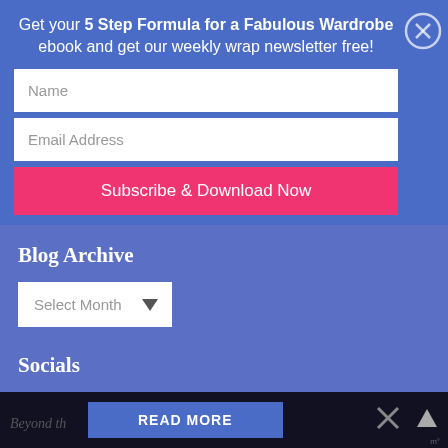Get your 5 Step Formula for a Fabulous Wardrobe ebook and get our weekly wrap newsletter free!
Name
Email Address
Subscribe & Download Now
Blog Archive
Select Month
Socials
[Figure (illustration): Social media icons: Facebook, Twitter, YouTube, RSS, Pinterest, Instagram]
READ MORE
Beyond th